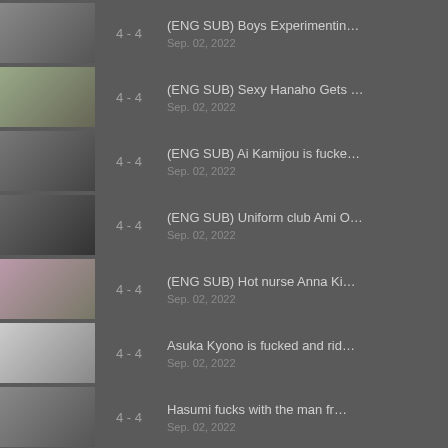4 - 4 | (ENG SUB) Boys Experimentin... | Sep. 02, 2022
4 - 4 | (ENG SUB) Sexy Hanaho Gets ... | Sep. 02, 2022
4 - 4 | (ENG SUB) Ai Kamijou is fucke... | Sep. 02, 2022
4 - 4 | (ENG SUB) Uniform club Ami O... | Sep. 02, 2022
4 - 4 | (ENG SUB) Hot nurse Anna Ki... | Sep. 02, 2022
4 - 4 | Asuka Kyono is fucked and rid... | Sep. 02, 2022
4 - 4 | Hasumi fucks with the man fr... | Sep. 02, 2022